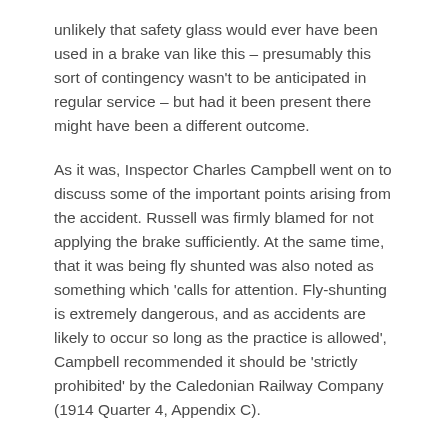unlikely that safety glass would ever have been used in a brake van like this – presumably this sort of contingency wasn't to be anticipated in regular service – but had it been present there might have been a different outcome.
As it was, Inspector Charles Campbell went on to discuss some of the important points arising from the accident. Russell was firmly blamed for not applying the brake sufficiently. At the same time, that it was being fly shunted was also noted as something which 'calls for attention. Fly-shunting is extremely dangerous, and as accidents are likely to occur so long as the practice is allowed', Campbell recommended it should be 'strictly prohibited' by the Caledonian Railway Company (1914 Quarter 4, Appendix C).
Whether or not the Company followed this recommendation isn't apparent – though given this was something which had been noted by the state as a problem since at least the 1870s, and yet the practice continued, it seems unlikely that